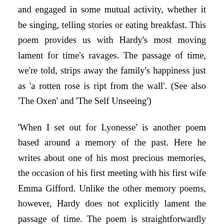and engaged in some mutual activity, whether it be singing, telling stories or eating breakfast. This poem provides us with Hardy's most moving lament for time's ravages. The passage of time, we're told, strips away the family's happiness just as 'a rotten rose is ript from the wall'. (See also 'The Oxen' and 'The Self Unseeing')
'When I set out for Lyonesse' is another poem based around a memory of the past. Here he writes about one of his most precious memories, the occasion of his first meeting with his first wife Emma Gifford. Unlike the other memory poems, however, Hardy does not explicitly lament the passage of time. The poem is straightforwardly happy, with the poet moving from a state of 'lonesomeness' to 'radiance' thanks to his encounter with this beautiful